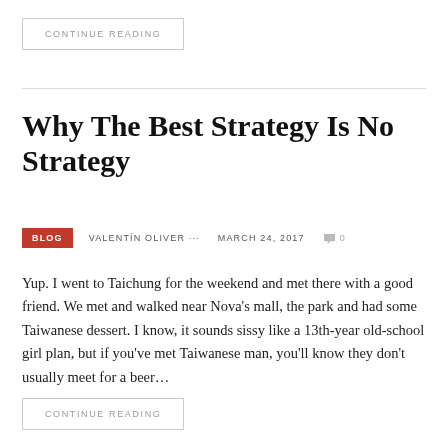CONTINUE READING
Why The Best Strategy Is No Strategy
BLOG   VALENTÍN OLIVER   MARCH 24, 2017   0
Yup. I went to Taichung for the weekend and met there with a good friend. We met and walked near Nova's mall, the park and had some Taiwanese dessert. I know, it sounds sissy like a 13th-year old-school girl plan, but if you've met Taiwanese man, you'll know they don't usually meet for a beer…
CONTINUE READING